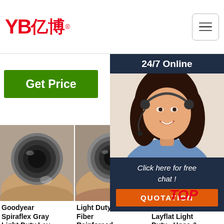[Figure (logo): YB亿博 company logo in red with registered trademark symbol]
[Figure (photo): Hamburger/menu navigation icon button]
High strength yarn. INN... com...
[Figure (other): Get Price green button (left)]
[Figure (other): Get Price green button (center)]
[Figure (other): G... partial green button (right, partially hidden)]
[Figure (photo): Customer service chat popup overlay showing 24/7 Online banner, woman with headset, Click here for free chat text, and QUOTATION orange button]
[Figure (photo): Photo of hose cross-section held in hand - Goodyear Spiraflex Gray Light Duty Lay product image]
Goodyear Spiraflex Gray Light Duty Lay...
[Figure (photo): Photo of hose cross-section held in hand - Light Duty Fiber Reinforced product image]
Light Duty Fiber Reinforced...
[Figure (photo): Partial photo of Sunny PVC Layflat Light Duty Hose product image]
Sunny PVC Layflat Light Duty - Hose &...
[Figure (other): TOP watermark text in red italic]